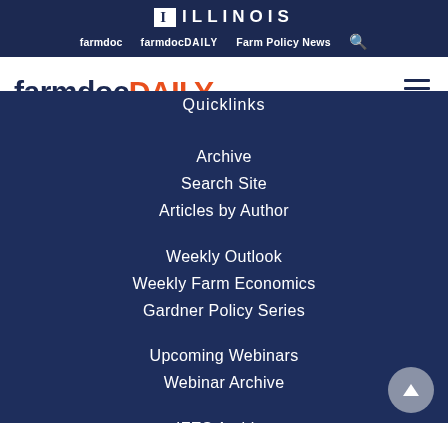ILLINOIS
farmdoc  farmdocDAILY  Farm Policy News
[Figure (logo): farmdocDAILY logo in dark navy and orange on white background with hamburger menu icon]
Quicklinks
Archive
Search Site
Articles by Author
Weekly Outlook
Weekly Farm Economics
Gardner Policy Series
Upcoming Webinars
Webinar Archive
IFES Archive